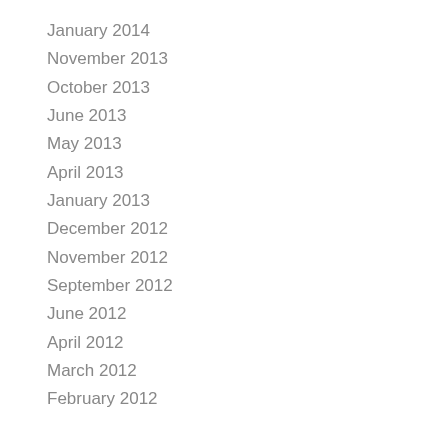January 2014
November 2013
October 2013
June 2013
May 2013
April 2013
January 2013
December 2012
November 2012
September 2012
June 2012
April 2012
March 2012
February 2012